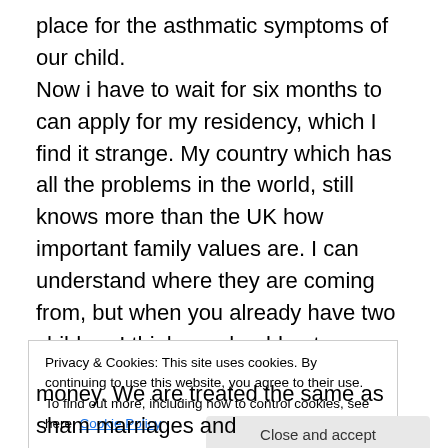place for the asthmatic symptoms of our child. Now i have to wait for six months to can apply for my residency, which I find it strange. My country which has all the problems in the world, still knows more than the UK how important family values are. I can understand where they are coming from, but when you already have two children I think we should get a greater priority and the UK should ease the regulations. My wife didn't come to Egypt as a tourist, she was working there with me and we are the same age – well she's 4 months older than me; I tease her every year that I am 4 months younger. 🙁
Privacy & Cookies: This site uses cookies. By continuing to use this website, you agree to their use. To find out more, including how to control cookies, see here: Cookie Policy
Close and accept
money. We are treated the same as sham marriages and